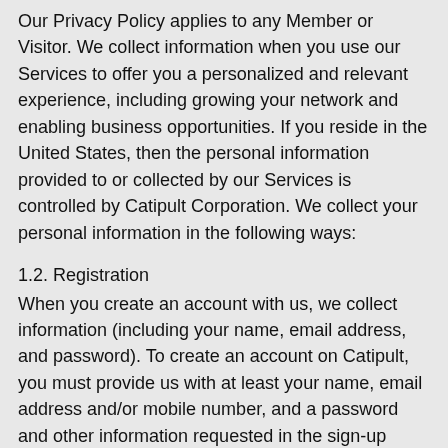Our Privacy Policy applies to any Member or Visitor. We collect information when you use our Services to offer you a personalized and relevant experience, including growing your network and enabling business opportunities. If you reside in the United States, then the personal information provided to or collected by our Services is controlled by Catipult Corporation. We collect your personal information in the following ways:
1.2. Registration
When you create an account with us, we collect information (including your name, email address, and password). To create an account on Catipult, you must provide us with at least your name, email address and/or mobile number, and a password and other information requested in the sign-up page and agree this Privacy Policy and our user agreement, which governs how we treat your information. You may provide additional information during the registration flow (for example, your